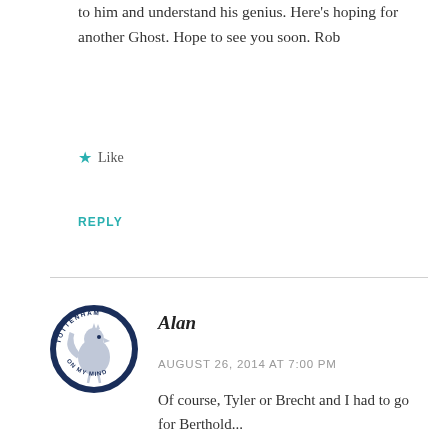to him and understand his genius. Here's hoping for another Ghost. Hope to see you soon. Rob
★ Like
REPLY
[Figure (logo): Tottenham On My Mind circular badge logo with dark navy blue border and white background showing a cockerel illustration]
Alan
AUGUST 26, 2014 AT 7:00 PM
Of course, Tyler or Brecht and I had to go for Berthold...
Ta Rob. Interesting re John's first season. Something similar could be said about